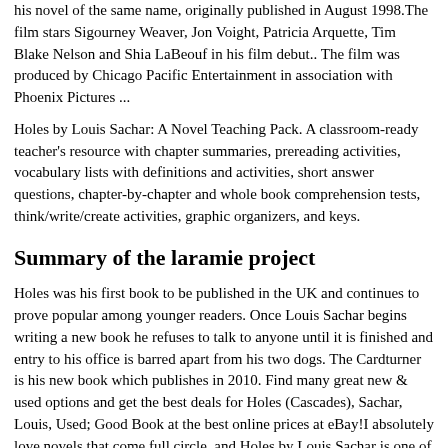his novel of the same name, originally published in August 1998.The film stars Sigourney Weaver, Jon Voight, Patricia Arquette, Tim Blake Nelson and Shia LaBeouf in his film debut.. The film was produced by Chicago Pacific Entertainment in association with Phoenix Pictures ...
Holes by Louis Sachar: A Novel Teaching Pack. A classroom-ready teacher's resource with chapter summaries, prereading activities, vocabulary lists with definitions and activities, short answer questions, chapter-by-chapter and whole book comprehension tests, think/write/create activities, graphic organizers, and keys.
Summary of the laramie project
Holes was his first book to be published in the UK and continues to prove popular among younger readers. Once Louis Sachar begins writing a new book he refuses to talk to anyone until it is finished and entry to his office is barred apart from his two dogs. The Cardturner is his new book which publishes in 2010. Find many great new & used options and get the best deals for Holes (Cascades), Sachar, Louis, Used; Good Book at the best online prices at eBay!I absolutely love novels that come full circle, and Holes by Louis Sachar is one of those novels. The multiple plot lines can be confusing at first, but it all comes together in the end. This excites readers and gives them a sense of accomplishment as